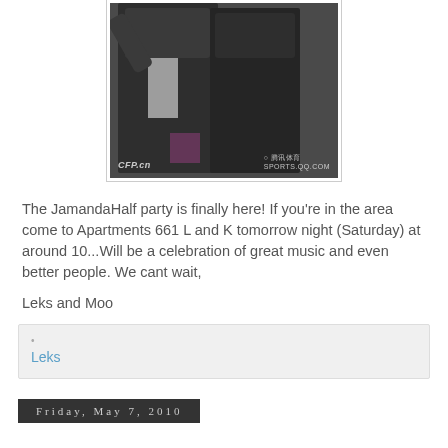[Figure (photo): Photo of two Asian men at an event, wearing dark jackets. Watermarks: CFP.cn on left, sports.qq.com logo on right bottom.]
The JamandaHalf party is finally here! If you're in the area come to Apartments 661 L and K tomorrow night (Saturday) at around 10...Will be a celebration of great music and even better people. We cant wait,
Leks and Moo
Leks
Friday, May 7, 2010